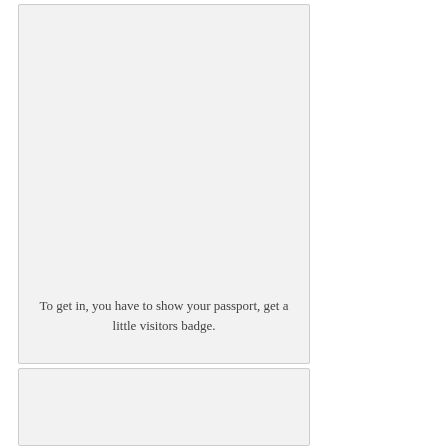[Figure (other): A light gray rectangular card/panel with a caption at the bottom center reading: To get in, you have to show your passport, get a little visitors badge.]
To get in, you have to show your passport, get a little visitors badge.
[Figure (other): A light gray rectangular card/panel, partially visible at the bottom of the page, with no visible text.]